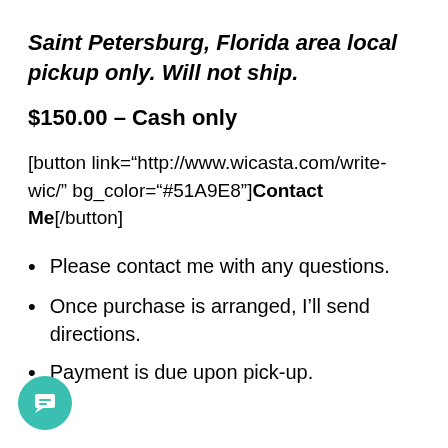Saint Petersburg, Florida area local pickup only. Will not ship.
$150.00 – Cash only
[button link="http://www.wicasta.com/write-wic/" bg_color="#51A9E8"]Contact Me[/button]
Please contact me with any questions.
Once purchase is arranged, I'll send directions.
Payment is due upon pick-up.